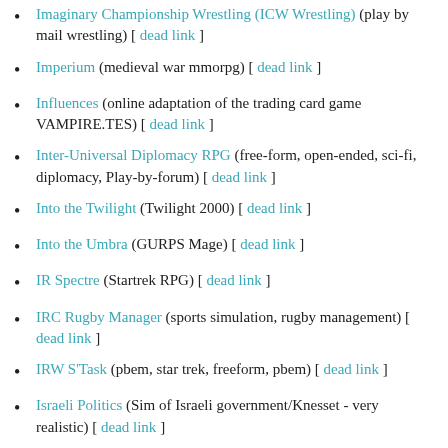Imaginary Championship Wrestling (ICW Wrestling) (play by mail wrestling) [ dead link ]
Imperium (medieval war mmorpg) [ dead link ]
Influences (online adaptation of the trading card game VAMPIRE.TES) [ dead link ]
Inter-Universal Diplomacy RPG (free-form, open-ended, sci-fi, diplomacy, Play-by-forum) [ dead link ]
Into the Twilight (Twilight 2000) [ dead link ]
Into the Umbra (GURPS Mage) [ dead link ]
IR Spectre (Startrek RPG) [ dead link ]
IRC Rugby Manager (sports simulation, rugby management) [ dead link ]
IRW S'Task (pbem, star trek, freeform, pbem) [ dead link ]
Israeli Politics (Sim of Israeli government/Knesset - very realistic) [ dead link ]
Jedi Trials (Star Wars based game) [ dead link ]